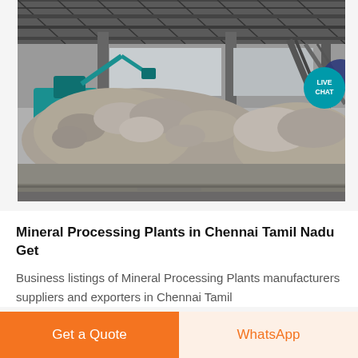[Figure (photo): Industrial mineral processing facility interior showing large piles of mineral/stone ore on the floor, with a blue excavator/crane visible on the left, conveyor belts and industrial roof structure overhead, in black and white tones.]
Mineral Processing Plants in Chennai Tamil Nadu Get
Business listings of Mineral Processing Plants manufacturers suppliers and exporters in Chennai Tamil
Get a Quote
WhatsApp